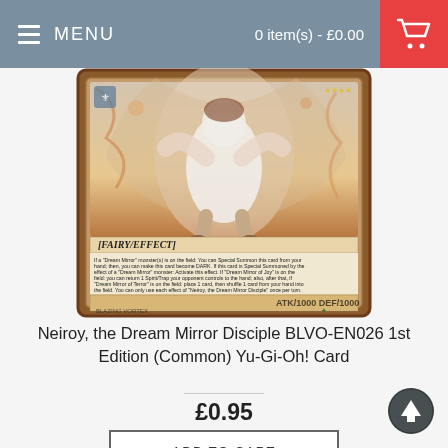MENU   0 item(s) - £0.00
[Figure (photo): Yu-Gi-Oh! trading card: Neiroy, the Dream Mirror Disciple BLVO-EN026. Fairy/Effect card showing an anime-style character illustration, with card text describing its effects and ATK/1000 DEF/1000 stats.]
Neiroy, the Dream Mirror Disciple BLVO-EN026 1st Edition (Common) Yu-Gi-Oh! Card
£0.95
ADD TO CART